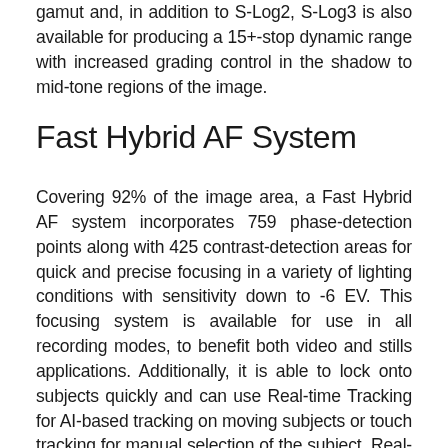gamut and, in addition to S-Log2, S-Log3 is also available for producing a 15+-stop dynamic range with increased grading control in the shadow to mid-tone regions of the image.
Fast Hybrid AF System
Covering 92% of the image area, a Fast Hybrid AF system incorporates 759 phase-detection points along with 425 contrast-detection areas for quick and precise focusing in a variety of lighting conditions with sensitivity down to -6 EV. This focusing system is available for use in all recording modes, to benefit both video and stills applications. Additionally, it is able to lock onto subjects quickly and can use Real-time Tracking for AI-based tracking on moving subjects or touch tracking for manual selection of the subject. Real-time Eye AF, suitable for both humans and animals, also ensures critical sharpness when shooting portraits. Helping to fine-tune how the